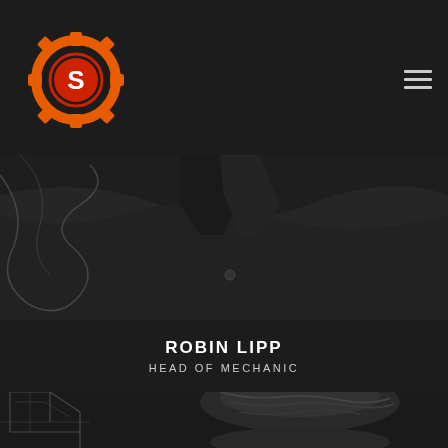Logo and navigation header
[Figure (photo): Close-up photo of a person in a dark jacket, black and white or dark tones, partial view of chest/collar area with a racing car line drawing overlay on the left side]
ROBIN LIPP
HEAD OF MECHANIC
[Figure (photo): Black and white portrait photo of Robin Lipp, showing top of head with styled hair, with racing car chassis/roll cage technical line drawing overlay on the left side]